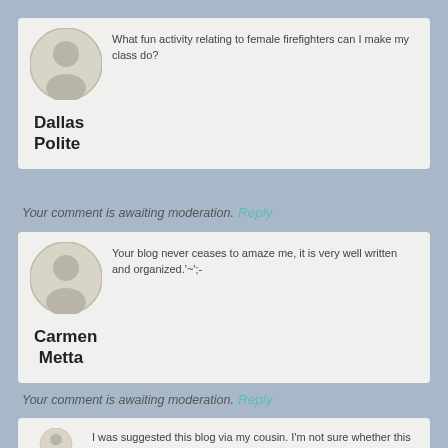What fun activity relating to female firefighters can I make my class do?
Dallas Polite
Your comment is awaiting moderation.
Reply
Your blog never ceases to amaze me, it is very well written and organized.'~';-
Carmen Metta
Your comment is awaiting moderation.
Reply
I was suggested this blog via my cousin. I'm not sure whether this post is written by him as nobody else realize such particular about my trouble. You are incredible! Thank you!